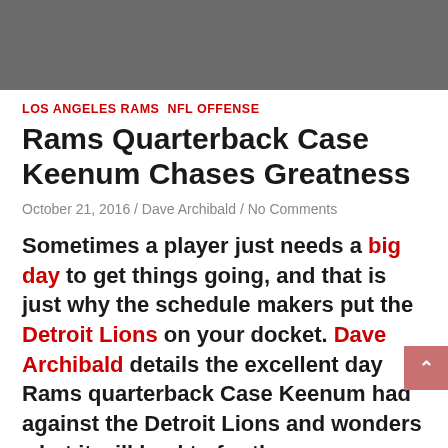[Figure (other): Gray header banner image area]
LOS ANGELES RAMS  NFL OFFENSE
Rams Quarterback Case Keenum Chases Greatness
October 21, 2016 / Dave Archibald / No Comments
Sometimes a player just needs a big day to get things going, and that is just why the schedule makers put the Detroit Lions on your docket. Dave Archibald details the excellent day Rams quarterback Case Keenum had against the Detroit Lions and wonders what it will lead to for the